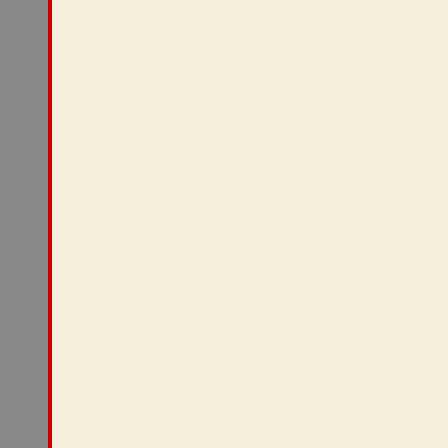» Book/Video Reviews (731)
» Books (2,076)
» Brazil (512)
» Campus Life (461)
» Canada (465)
» Caribbean/Latin America (1,398)
» Census/Demographics (1,068)
» Chapter (44)
» Communications/Media Studies (486)
» Course Offerings (158)
» Definitions (43)
» Dissertations (445)
» Economics (110)
» Europe (543)
» Excerpts/Quotes (945)
»